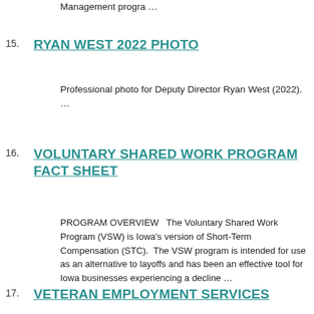Management progra …
15. RYAN WEST 2022 PHOTO
Professional photo for Deputy Director Ryan West (2022). …
16. VOLUNTARY SHARED WORK PROGRAM FACT SHEET
PROGRAM OVERVIEW  The Voluntary Shared Work Program (VSW) is Iowa's version of Short-Term Compensation (STC).  The VSW program is intended for use as an alternative to layoffs and has been an effective tool for Iowa businesses experiencing a decline …
17. VETERAN EMPLOYMENT SERVICES